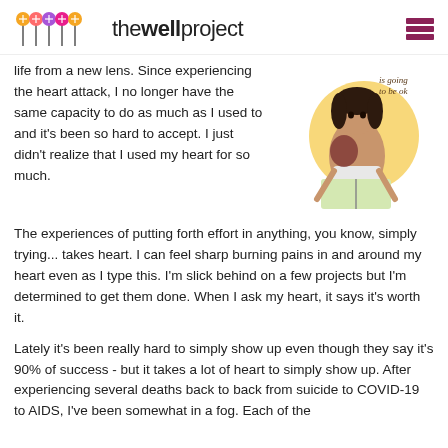the well project
life from a new lens. Since experiencing the heart attack, I no longer have the same capacity to do as much as I used to and it's been so hard to accept. I just didn't realize that I used my heart for so much. The experiences of putting forth effort in anything, you know, simply trying... takes heart. I can feel sharp burning pains in and around my heart even as I type this. I'm slick behind on a few projects but I'm determined to get them done. When I ask my heart, it says it's worth it.
[Figure (illustration): Illustration of a person sitting and reading a book, with text overlay reading 'is going to be ok']
Lately it's been really hard to simply show up even though they say it's 90% of success - but it takes a lot of heart to simply show up. After experiencing several deaths back to back from suicide to COVID-19 to AIDS, I've been somewhat in a fog. Each of the